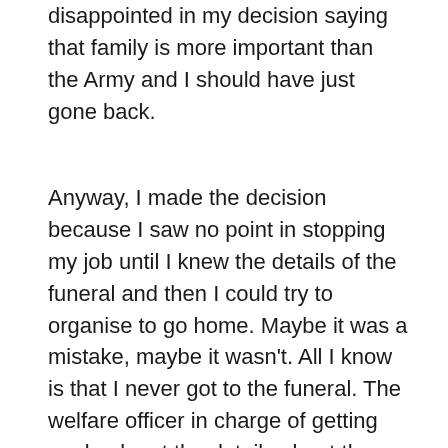disappointed in my decision saying that family is more important than the Army and I should have just gone back.
Anyway, I made the decision because I saw no point in stopping my job until I knew the details of the funeral and then I could try to organise to go home. Maybe it was a mistake, maybe it wasn't. All I know is that I never got to the funeral. The welfare officer in charge of getting me back got the details about the funeral too late and couldn't pass the message on to me soon enough for me to be able to attend. I missed my grandmother's funeral and instead I was out in the middle of the bush playing war games. Seeing as I had already